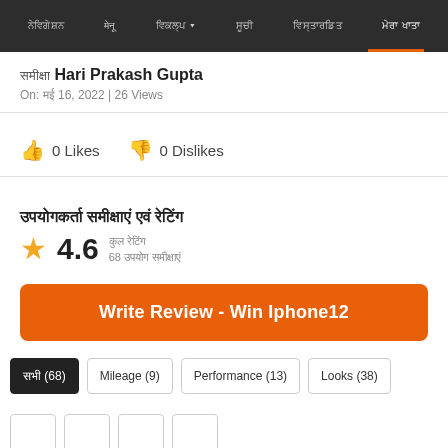नेविगेशन मेनू बार
समीक्षा Hari Prakash Gupta
On: मई 16, 2022 | 26 Views
0 Likes   0 Dislikes
उपयोगकर्ता समीक्षाएं एवं रेटिंग
★ 4.6  कुल रेटिंग
68 उपयोग समीक्षाएं
Write Review - Win Iphone12
सभी (68)   Mileage (9)   Performance (13)   Looks (38)